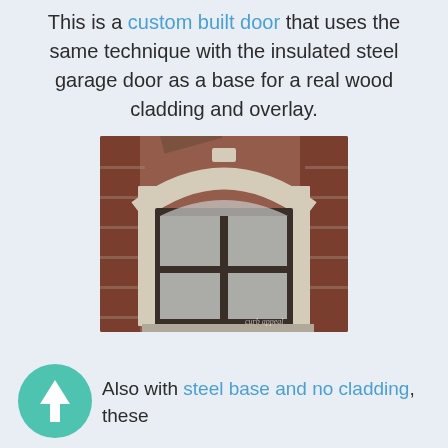This is a custom built door that uses the same technique with the insulated steel garage door as a base for a real wood cladding and overlay.
[Figure (photo): A custom arched garage door with dark bronze frame set in a brick wall with cream/stone arch surround. The door has large glass panels. A watermark reads 'curb appeal' in the lower right corner.]
Also with steel base and no cladding, these